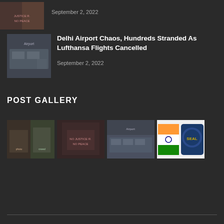[Figure (photo): Protest photo thumbnail showing person holding JUSTICE R / NO PEACE sign]
September 2, 2022
[Figure (photo): Crowded airport terminal photo thumbnail]
Delhi Airport Chaos, Hundreds Stranded As Lufthansa Flights Cancelled
September 2, 2022
POST GALLERY
[Figure (photo): Gallery: two protest photos side by side - person with phone and person in crowd]
[Figure (photo): Gallery: protest rally with woman holding megaphone and NO JUSTICE R... NO PEACE sign]
[Figure (photo): Gallery: crowded airport terminal]
[Figure (photo): Gallery: Indian flag and police/government badge logo]